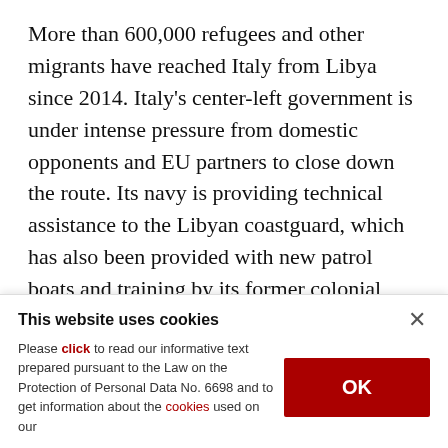More than 600,000 refugees and other migrants have reached Italy from Libya since 2014. Italy's center-left government is under intense pressure from domestic opponents and EU partners to close down the route. Its navy is providing technical assistance to the Libyan coastguard, which has also been provided with new patrol boats and training by its former colonial master.

Alfano said the cooperation was beginning to bear
This website uses cookies
Please click to read our informative text prepared pursuant to the Law on the Protection of Personal Data No. 6698 and to get information about the cookies used on our